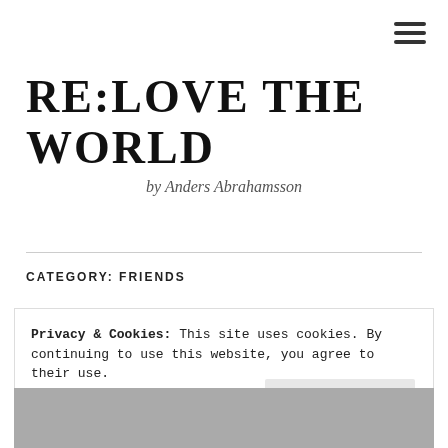☰ (menu icon)
RE:LOVE THE WORLD
by Anders Abrahamsson
CATEGORY: FRIENDS
Privacy & Cookies: This site uses cookies. By continuing to use this website, you agree to their use.
To find out more, including how to control cookies, see here:
Cookie Policy
[Figure (photo): Partial photo of a person visible at bottom of page beneath cookie banner]